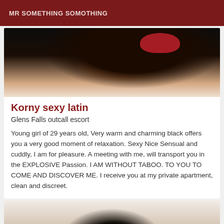MR SOMETHING SOMOTHING
[Figure (photo): Photo of a woman lying on a white surface, wearing red clothing, with dark hair.]
Korny sexy latin
Glens Falls outcall escort
Young girl of 29 years old, Very warm and charming black offers you a very good moment of relaxation. Sexy Nice Sensual and cuddly, I am for pleasure. A meeting with me, will transport you in the EXPLOSIVE Passion. I AM WITHOUT TABOO. TO YOU TO COME AND DISCOVER ME. I receive you at my private apartment, clean and discreet.
[Figure (photo): Partial photo of a person, cropped at bottom of page.]